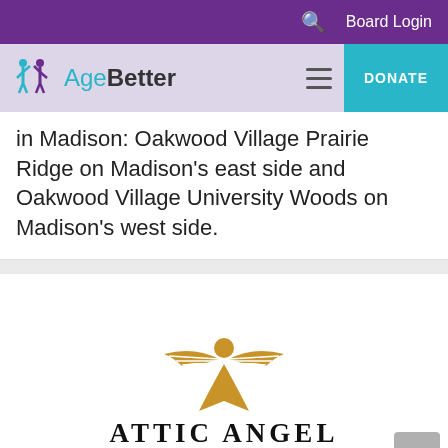🔍  Board Login
[Figure (logo): AgeBetter logo: two teal figures with arms raised, text reading 'Age' in teal and 'Better' in bold dark text]
in Madison: Oakwood Village Prairie Ridge on Madison's east side and Oakwood Village University Woods on Madison's west side.
[Figure (logo): Attic Angel Community logo: golden angel figure with spread wings above text 'ATTIC ANGEL COMMUNITY']